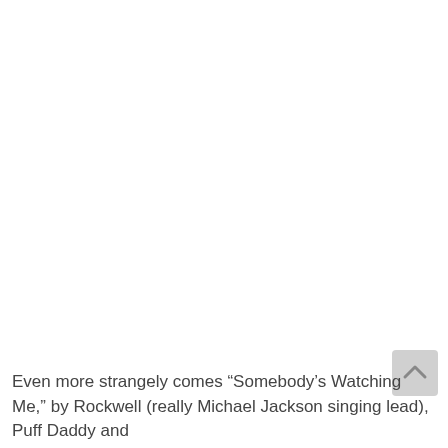Even more strangely comes “Somebody’s Watching Me,” by Rockwell (really Michael Jackson singing lead), Puff Daddy and